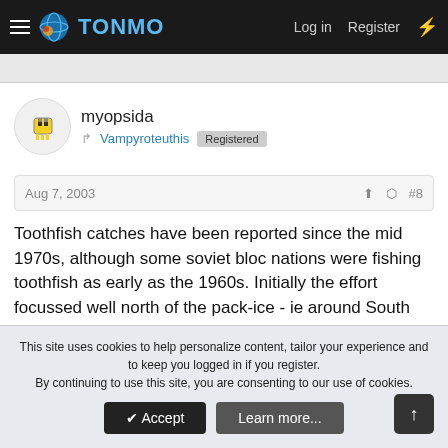TONMO | Log in | Register
myopsida
Vampyroteuthis  Registered
Aug 7, 2003  #8
Toothfish catches have been reported since the mid 1970s, although some soviet bloc nations were fishing toothfish as early as the 1960s. Initially the effort focussed well north of the pack-ice - ie around South Georgia, Kerguelen etc. Trawling targetted the larger immature fish of `65+cm in depths of 400-600m, both in midwater and 'near bottom'. Longlining was introduced in the
This site uses cookies to help personalize content, tailor your experience and to keep you logged in if you register.
By continuing to use this site, you are consenting to our use of cookies.